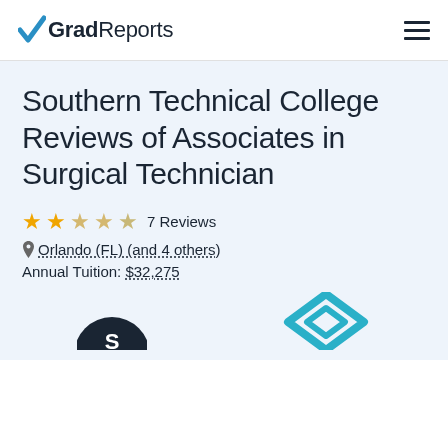GradReports
Southern Technical College Reviews of Associates in Surgical Technician
★★☆☆☆ 7 Reviews
Orlando (FL) (and 4 others)
Annual Tuition: $32,275
[Figure (logo): Southern Technical College and GradReports logos partially visible at bottom]